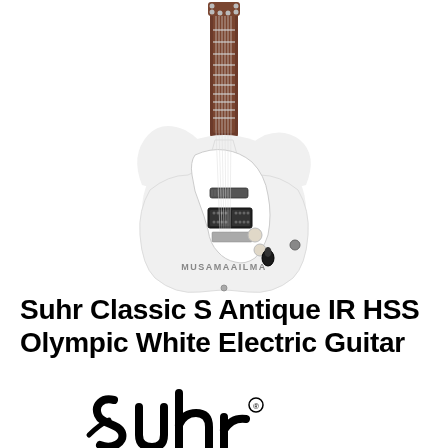[Figure (photo): A white Suhr Classic S Antique IR HSS electric guitar (Stratocaster-style body, Olympic White finish, rosewood fretboard, HSS pickup configuration) photographed against a white background, with 'MUSAMAAILMA' watermark text visible at the bottom of the guitar body.]
Suhr Classic S Antique IR HSS Olympic White Electric Guitar
[Figure (logo): Suhr brand logo in large stylized cursive black script lettering, partially cropped at bottom of page.]